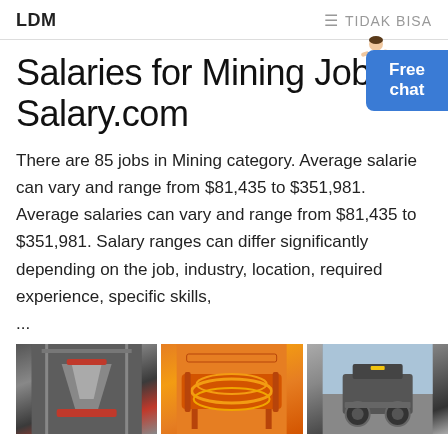LDM   ≡ TIDAK BISA
Salaries for Mining Jobs | Salary.com
There are 85 jobs in Mining category. Average salaries can vary and range from $81,435 to $351,981. Average salaries can vary and range from $81,435 to $351,981. Salary ranges can differ significantly depending on the job, industry, location, required experience, specific skills,
...
[Figure (photo): Three side-by-side photos of mining machinery and equipment in industrial settings.]